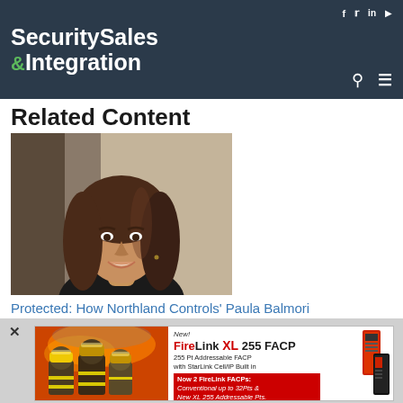Security Sales & Integration
Related Content
[Figure (photo): Headshot of Paula Balmori, a woman with long brown hair, smiling, wearing a black top]
Protected: How Northland Controls' Paula Balmori
[Figure (infographic): Advertisement for FireLink XL 255 FACP. Text: New! FireLink XL 255 FACP. 255 Pt Addressable FACP with StarLink Cell/IP Built in. Now 2 FireLink FACPs: Conventional up to 32Pts & New XL 255 Addressable Pts. Shows firefighters on left and product image on right.]